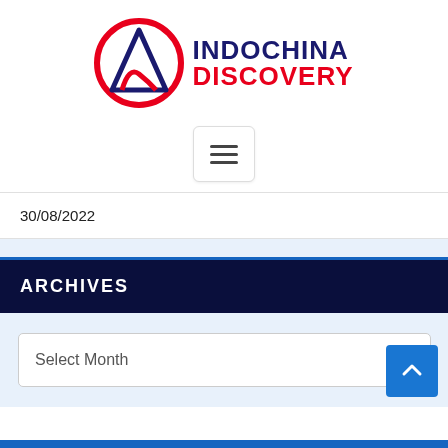[Figure (logo): Indochina Discovery logo: red circle with blue/red mountain peak letter A, text INDOCHINA DISCOVERY in dark blue and red]
[Figure (other): Hamburger menu button (three horizontal lines) inside a rounded rectangle]
30/08/2022
ARCHIVES
Select Month
[Figure (other): Back to top arrow button (blue square with upward chevron)]